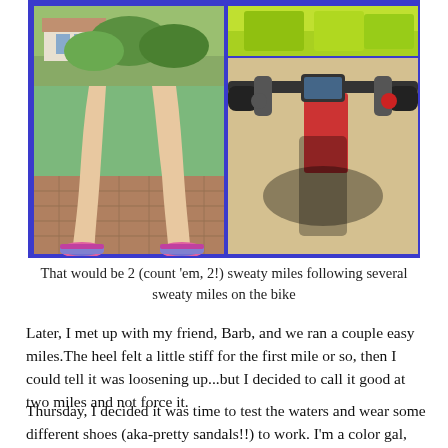[Figure (photo): Photo collage with blue border: left image shows a person's legs in running shoes stretching on brick pavement with green garden background; top right shows a yellow/green close-up; bottom right shows bicycle handlebars with shadow of rider on sandy ground.]
That would be 2 (count 'em, 2!) sweaty miles following several sweaty miles on the bike
Later, I met up with my friend, Barb, and we ran a couple easy miles.The heel felt a little stiff for the first mile or so, then I could tell it was loosening up...but I decided to call it good at two miles and not force it.
Thursday, I decided it was time to test the waters and wear some different shoes (aka-pretty sandals!!) to work. I'm a color gal, and I like my funky summer sandals. Although my Alegria's and Oofoos are extremely comfortable, I was bored